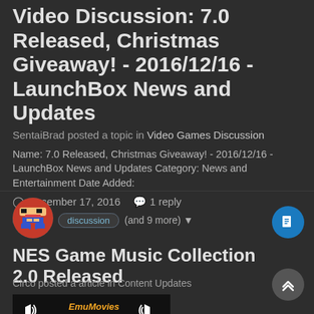Video Discussion: 7.0 Released, Christmas Giveaway! - 2016/12/16 - LaunchBox News and Updates
SentaiBrad posted a topic in Video Games Discussion
Name: 7.0 Released, Christmas Giveaway! - 2016/12/16 - LaunchBox News and Updates Category: News and Entertainment Date Added:
December 17, 2016   1 reply
video
discussion
(and 9 more)
[Figure (photo): Mario avatar icon - pixel art of Mario character]
NES Game Music Collection 2.0 Released
Circo posted a article in Content Updates
[Figure (screenshot): EmuMovies Game Music banner with speaker icons and logo]